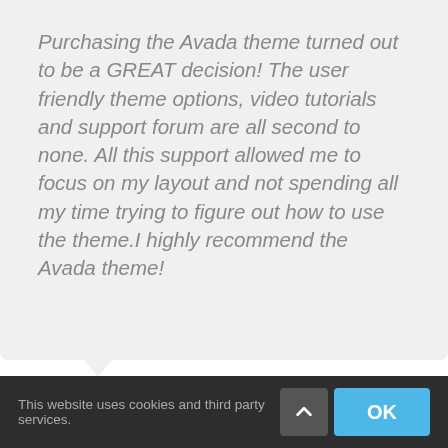Purchasing the Avada theme turned out to be a GREAT decision! The user friendly theme options, video tutorials and support forum are all second to none. All this support allowed me to focus on my layout and not spending all my time trying to figure out how to use the theme.I highly recommend the Avada theme!
We use cookies on our website to give you the most relevant experience by remembering your preferences and repeat visits. By clicking "Accept All", you consent to the use of ALL the cookies. However, you may visit "Cookie Settings" to provide a controlled consent.
This website uses cookies and third party services.